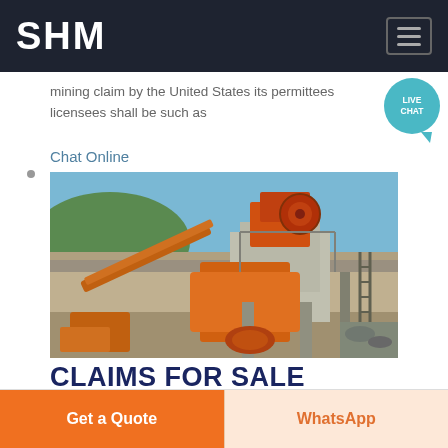SHM
mining claim by the United States its permittees licensees shall be such as
Chat Online
[Figure (photo): Orange industrial mining/crushing machinery equipment at an open-pit quarry site with rocky hillside in the background]
CLAIMS FOR SALE
Get a Quote
WhatsApp